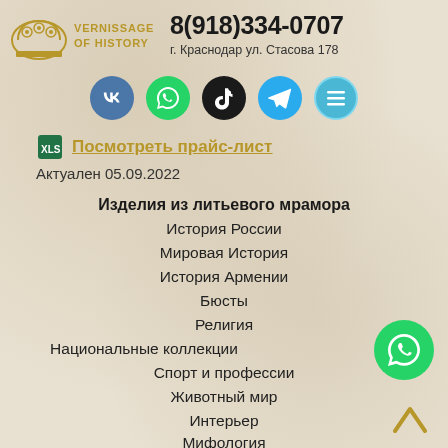[Figure (logo): Vernissage of History logo with decorative arch icon and gold text]
8(918)334-0707
г. Краснодар ул. Стасова 178
[Figure (infographic): Row of 5 social media icons: VK (blue), WhatsApp (green), TikTok (black), Telegram (blue), Menu (cyan)]
Посмотреть прайс-лист
Актуален 05.09.2022
Изделия из литьевого мрамора
История России
Мировая История
История Армении
Бюсты
Религия
Национальные коллекции
Спорт и профессии
Животный мир
Интерьер
Мифология